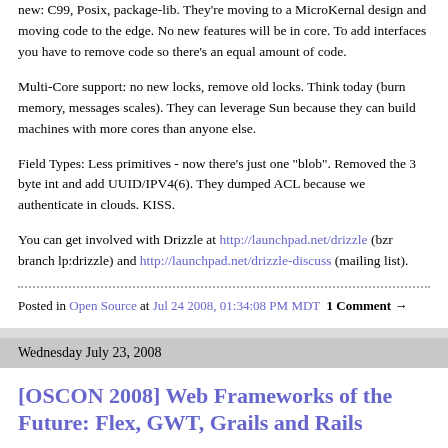new: C99, Posix, package-lib. They're moving to a MicroKernal design and moving code to the edge. No new features will be in core. To add interfaces you have to remove code so there's an equal amount of code.
Multi-Core support: no new locks, remove old locks. Think today (burn memory, messages scales). They can leverage Sun because they can build machines with more cores than anyone else.
Field Types: Less primitives - now there's just one "blob". Removed the 3 byte int and add UUID/IPV4(6). They dumped ACL because we authenticate in clouds. KISS.
You can get involved with Drizzle at http://launchpad.net/drizzle (bzr branch lp:drizzle) and http://launchpad.net/drizzle-discuss (mailing list).
Posted in Open Source at Jul 24 2008, 01:34:08 PM MDT  1 Comment →
Wednesday July 23, 2008
[OSCON 2008] Web Frameworks of the Future: Flex, GWT, Grails and Rails
Below is the presentation I'm delivering at OSCON today. Unfortunately, I had to remove slides on GWT and Flex to fit w/in the 45 minute time limit. I hope to expand this presentation in the future, as well as continue to develop the side project I'm working on using these...